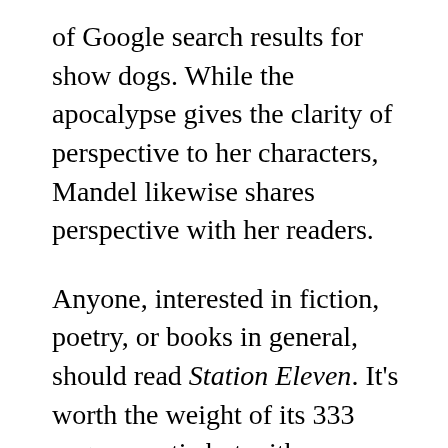of Google search results for show dogs. While the apocalypse gives the clarity of perspective to her characters, Mandel likewise shares perspective with her readers.
Anyone, interested in fiction, poetry, or books in general, should read Station Eleven. It’s worth the weight of its 333 pages: poetic but with an engaging plot, you can read it twice and still appreciate more subtle detail (and I have). It considers where we are, why, and what the depth of humanity’s future could bring. It’s also unsettlingly real, laying bare the fragility of our brilliant, instant, and perhaps fleeting world. It’s a